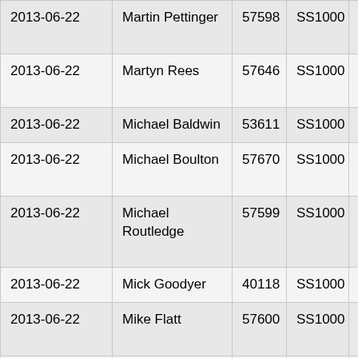| 2013-06-22 | Martin Pettinger | 57598 | SS1000 | Yamaha XVS1100A |
| 2013-06-22 | Martyn Rees | 57646 | SS1000 | Yamaha FJR1300 |
| 2013-06-22 | Michael Baldwin | 53611 | SS1000 | BMW R1200 RT |
| 2013-06-22 | Michael Boulton | 57670 | SS1000 | Moto Guzzi Spada |
| 2013-06-22 | Michael Routledge | 57599 | SS1000 | Yamaha XV1600A Wild Star |
| 2013-06-22 | Mick Goodyer | 40118 | SS1000 | BMW F800 ST |
| 2013-06-22 | Mike Flatt | 57600 | SS1000 | Harley-Davidson Fat Bob |
| 2013-06-22 | Mike Strong | 53018 | SS1000 | Yamaha Diversion S |
| 2013-06-22 | Neil Brock | 57601 | SS1000 | BMW F800 GS |
| 2013-06-22 | Neil Hagger | 51108 | SS1000 | Kawasaki Z1000SX |